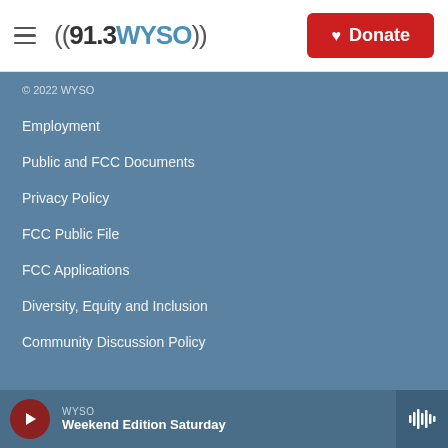((91.3 WYSO)) | Donate
© 2022 WYSO
Employment
Public and FCC Documents
Privacy Policy
FCC Public File
FCC Applications
Diversity, Equity and Inclusion
Community Discussion Policy
WYSO | Weekend Edition Saturday